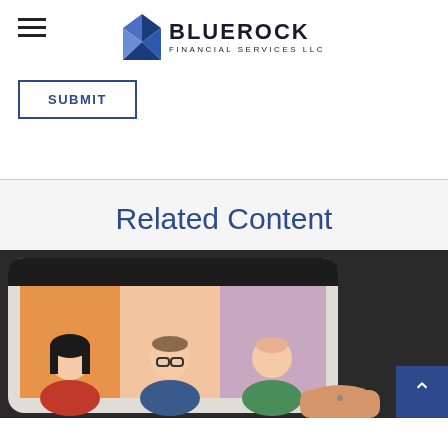BLUEROCK FINANCIAL SERVICES LLC
SUBMIT
Related Content
[Figure (photo): A person holding a tablet displaying an illustrated video call or meeting scene with animated character avatars in orange and purple panels]